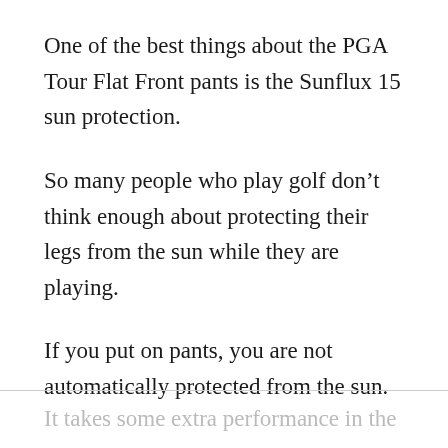One of the best things about the PGA Tour Flat Front pants is the Sunflux 15 sun protection.
So many people who play golf don’t think enough about protecting their legs from the sun while they are playing.
If you put on pants, you are not automatically protected from the sun.
It takes some extra performance in the fabric from...